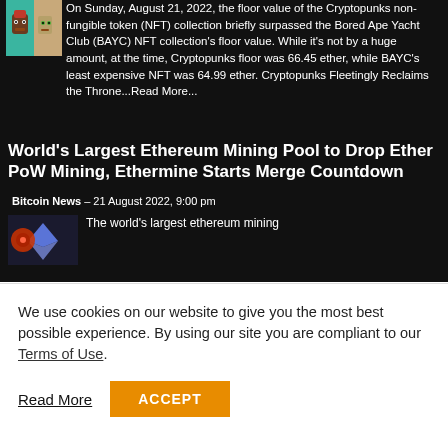On Sunday, August 21, 2022, the floor value of the Cryptopunks non-fungible token (NFT) collection briefly surpassed the Bored Ape Yacht Club (BAYC) NFT collection's floor value. While it's not by a huge amount, at the time, Cryptopunks floor was 66.45 ether, while BAYC's least expensive NFT was 64.99 ether. Cryptopunks Fleetingly Reclaims the Throne...Read More...
World's Largest Ethereum Mining Pool to Drop Ether PoW Mining, Ethermine Starts Merge Countdown
Bitcoin News – 21 August 2022, 9:00 pm
The world's largest ethereum mining
We use cookies on our website to give you the most best possible experience. By using our site you are compliant to our Terms of Use.
Read More
ACCEPT